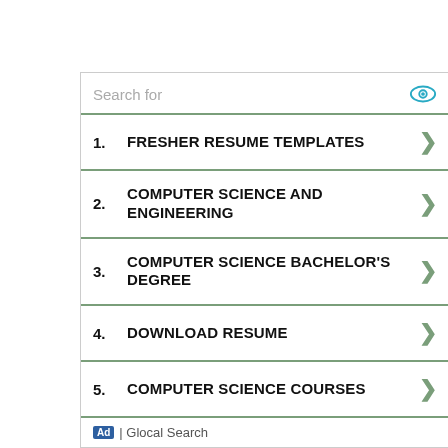Search for
1. FRESHER RESUME TEMPLATES
2. COMPUTER SCIENCE AND ENGINEERING
3. COMPUTER SCIENCE BACHELOR'S DEGREE
4. DOWNLOAD RESUME
5. COMPUTER SCIENCE COURSES
Ad | Glocal Search